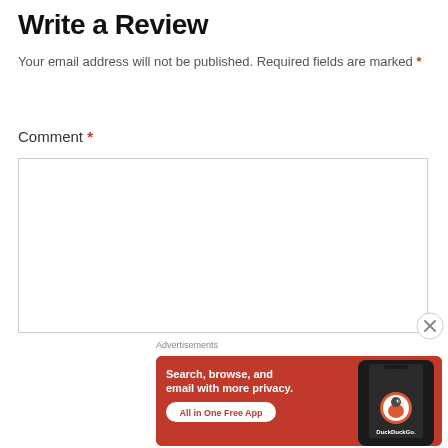Write a Review
Your email address will not be published. Required fields are marked *
Comment *
[Figure (screenshot): Empty comment textarea input box with border]
[Figure (screenshot): Close (X) button circle]
Advertisements
[Figure (infographic): DuckDuckGo advertisement banner: orange background, text 'Search, browse, and email with more privacy. All in One Free App', DuckDuckGo logo with duck icon and phone image]